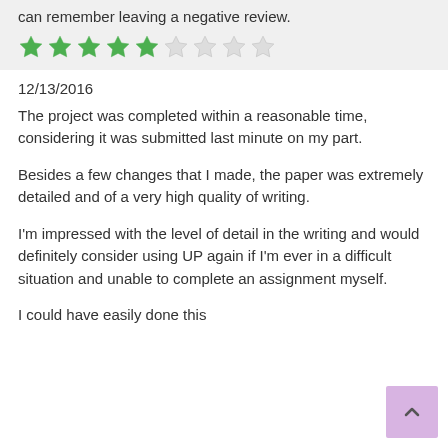can remember leaving a negative review.
[Figure (other): Star rating: 5 out of 9 stars shown filled green, 4 empty]
12/13/2016
The project was completed within a reasonable time, considering it was submitted last minute on my part.
Besides a few changes that I made, the paper was extremely detailed and of a very high quality of writing.
I'm impressed with the level of detail in the writing and would definitely consider using UP again if I'm ever in a difficult situation and unable to complete an assignment myself.
I could have easily done this